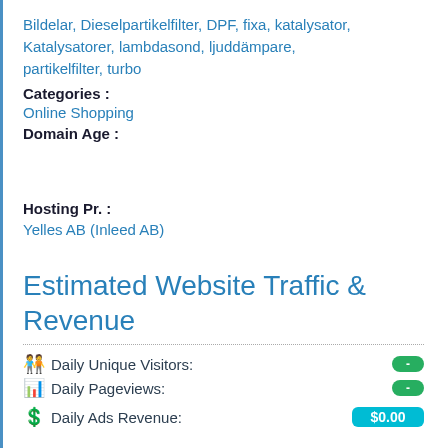Bildelar, Dieselpartikelfilter, DPF, fixa, katalysator, Katalysatorer, lambdasond, ljuddämpare, partikelfilter, turbo
Categories :
Online Shopping
Domain Age :
Hosting Pr. :
Yelles AB (Inleed AB)
Estimated Website Traffic & Revenue
Daily Unique Visitors:
Daily Pageviews:
Daily Ads Revenue: $0.00